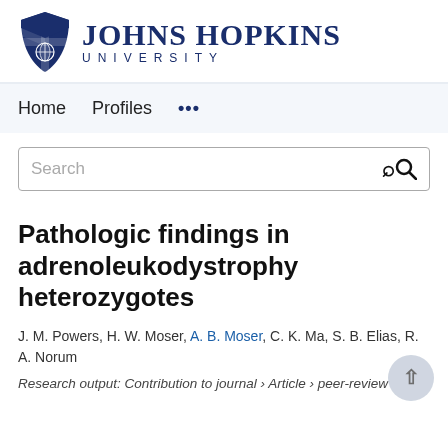[Figure (logo): Johns Hopkins University logo with shield and wordmark]
Home   Profiles   ...
Search
Pathologic findings in adrenoleukodystrophy heterozygotes
J. M. Powers, H. W. Moser, A. B. Moser, C. K. Ma, S. B. Elias, R. A. Norum
Research output: Contribution to journal › Article › peer-review